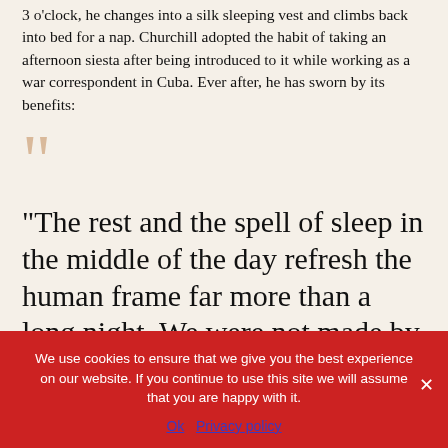3 o'clock, he changes into a silk sleeping vest and climbs back into bed for a nap. Churchill adopted the habit of taking an afternoon siesta after being introduced to it while working as a war correspondent in Cuba. Ever after, he has sworn by its benefits:
[Figure (illustration): Large decorative quotation mark in muted tan/beige color]
“The rest and the spell of sleep in the middle of the day refresh the human frame far more than a long night. We were not made by Nature to work, or even
We use cookies to ensure that we give you the best experience on our website. If you continue to use this site we will assume that you are happy with it.
Ok   Privacy policy